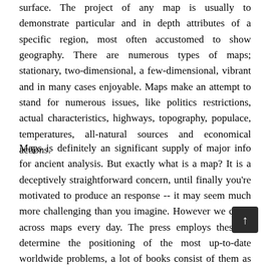surface. The project of any map is usually to demonstrate particular and in depth attributes of a specific region, most often accustomed to show geography. There are numerous types of maps; stationary, two-dimensional, a few-dimensional, vibrant and in many cases enjoyable. Maps make an attempt to stand for numerous issues, like politics restrictions, actual characteristics, highways, topography, populace, temperatures, all-natural sources and economical actions.
Maps is definitely an significant supply of major info for ancient analysis. But exactly what is a map? It is a deceptively straightforward concern, until finally you're motivated to produce an response -- it may seem much more challenging than you imagine. However we come across maps every day. The press employs these to determine the positioning of the most up-to-date worldwide problems, a lot of books consist of them as drawings, so we seek advice from maps to assist us get around from spot to position. Maps are extremely common; we usually drive them as a given. Nevertheless occasionally the acquainted is actually intricate than it seems. "Exactly what is a